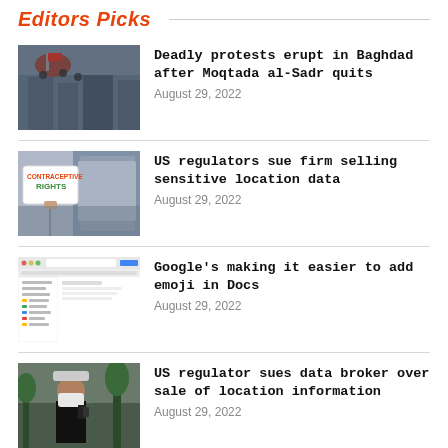Editors Picks
[Figure (photo): People on top of a building with a flag during Baghdad protests]
Deadly protests erupt in Baghdad after Moqtada al-Sadr quits
August 29, 2022
[Figure (photo): Person holding a protest sign that reads contraceptive rights]
US regulators sue firm selling sensitive location data
August 29, 2022
[Figure (screenshot): Screenshot of Google Docs showing emoji insertion interface]
Google's making it easier to add emoji in Docs
August 29, 2022
[Figure (photo): Person wearing mask and hat outdoors]
US regulator sues data broker over sale of location information
August 29, 2022